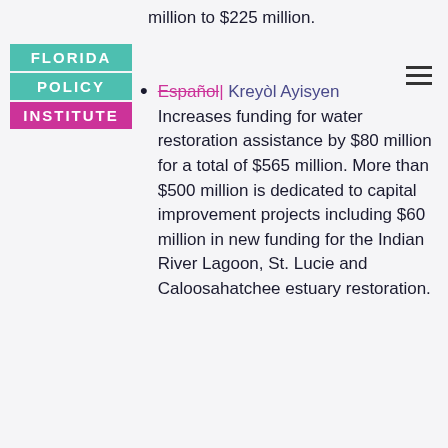[Figure (logo): Florida Policy Institute logo with teal blocks for FLORIDA and POLICY and magenta block for INSTITUTE]
million to $225 million.
Increases funding for water restoration assistance by $80 million for a total of $565 million. More than $500 million is dedicated to capital improvement projects including $60 million in new funding for the Indian River Lagoon, St. Lucie and Caloosahatchee estuary restoration.